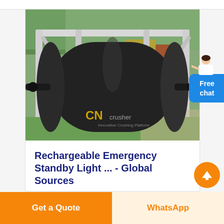[Figure (photo): Industrial conveyor belt roller/drum on a white metal frame structure, outdoors on grass. A large dark cylindrical drum/roller is mounted on a white painted steel frame. CN Crusher watermark visible on the image.]
Rechargeable Emergency Standby Light ... - Global Sources
Free chat
Get a Quote
WhatsApp